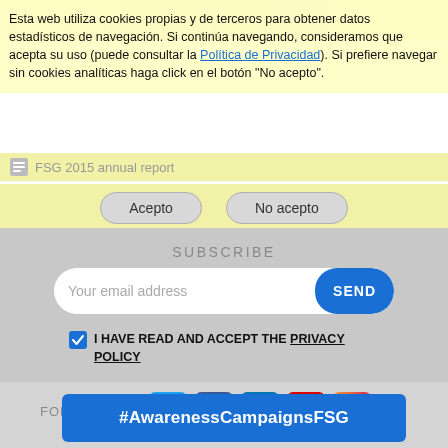[Figure (screenshot): Top decorative banner image with colorful FSG 2015 Annual Report text overlay]
Esta web utiliza cookies propias y de terceros para obtener datos estadísticos de navegación. Si continúa navegando, consideramos que acepta su uso (puede consultar la Política de Privacidad). Si prefiere navegar sin cookies analíticas haga click en el botón "No acepto".
FSG 2015 annual report
Acepto
No acepto
SUBSCRIBE
Your email address
SEND
I HAVE READ AND ACCEPT THE PRIVACY POLICY
FOLLOW US...
[Figure (logo): Social media icons: Twitter, Facebook, LinkedIn, YouTube, Instagram]
#AwarenessCampaignsFSG